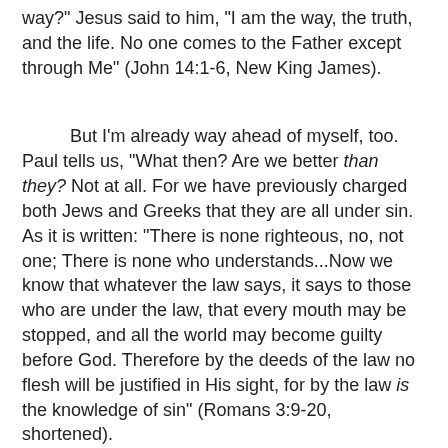way?" Jesus said to him, “I am the way, the truth, and the life. No one comes to the Father except through Me” (John 14:1-6, New King James).
But I’m already way ahead of myself, too. Paul tells us, "What then? Are we better than they? Not at all. For we have previously charged both Jews and Greeks that they are all under sin. As it is written: “There is none righteous, no, not one; There is none who understands...Now we know that whatever the law says, it says to those who are under the law, that every mouth may be stopped, and all the world may become guilty before God. Therefore by the deeds of the law no flesh will be justified in His sight, for by the law is the knowledge of sin” (Romans 3:9-20, shortened).
As a people who follow Christ, we have this command from Christ Himself: "All authority in heaven and on earth has been given to Me. Therefore go and make disciples of all nations, baptizing them in the name of the Father, and of the Son, and of the Holy Spirit, and teaching them to obey all that I have commanded you. And surely I am with you